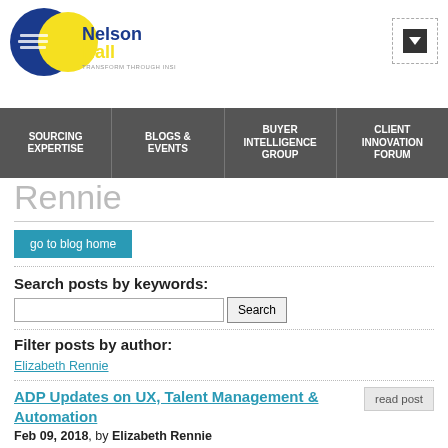[Figure (logo): NelsonHall logo with blue circle and yellow circle, text 'NelsonHall TRANSFORM THROUGH INSIGHT']
NelsonHall navigation bar with: SOURCING EXPERTISE, BLOGS & EVENTS, BUYER INTELLIGENCE GROUP, CLIENT INNOVATION FORUM
Rennie
go to blog home
Search posts by keywords:
Filter posts by author:
Elizabeth Rennie
ADP Updates on UX, Talent Management & Automation
Feb 09, 2018, by Elizabeth Rennie